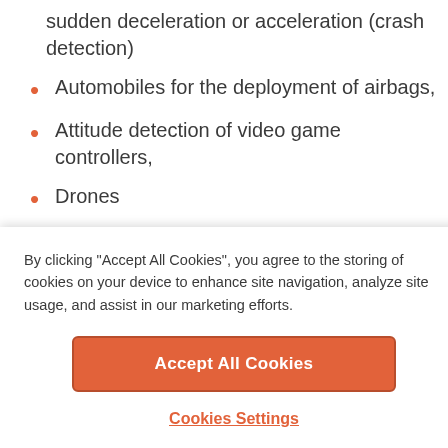sudden deceleration or acceleration (crash detection)
Automobiles for the deployment of airbags,
Attitude detection of video game controllers,
Drones
And many more applications
Piezoresistive Accelerometers
By clicking “Accept All Cookies”, you agree to the storing of cookies on your device to enhance site navigation, analyze site usage, and assist in our marketing efforts.
Accept All Cookies
Cookies Settings